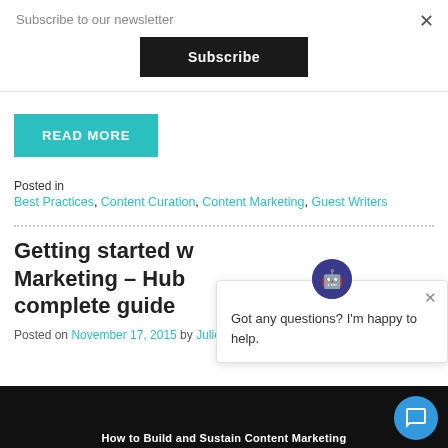Subscribe to our newsletter
Subscribe
READ MORE
Posted in
Best Practices, Content Curation, Content Marketing, Guest Writers
Getting started w Marketing – Hub complete guide
Posted on November 17, 2015 by Julie Gauthier
Got any questions? I'm happy to help.
How to Build and Sustain Content Marketing